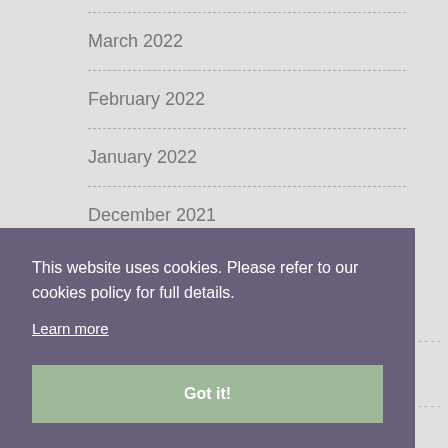March 2022
February 2022
January 2022
December 2021
This website uses cookies. Please refer to our cookies policy for full details.
Learn more
Got it!